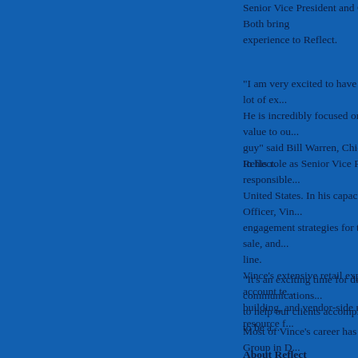Senior Vice President and Chief Marketing Officer. Both bring experience to Reflect.
"I am very excited to have Vince aboard. He brings a lot of ex... He is incredibly focused on bringing real business value to ou... guy" said Bill Warren, Chief Executive Officer of Reflect.
In his role as Senior Vice President, Vince will be responsible... United States. In his capacity as Chief Marketing Officer, Vin... engagement strategies for their brand at the point-of-sale, and... line.
Vince's extensive retail experience includes leading account te... building, and vendor-side management as a creative resource f...
"It's an exciting time for digital point-of-sale communications... to help our clients accomplish great things. I'm excited to be a...
Most of Vince's career has been with The Richards Group in D... the U.S. His work there involved leading the development of R... clients including The Home Depot, Eye Care Centers of Amer... manager for one of the Southwest's premier commercial photo... for clients that included JC Penney, Macy's, and Neiman Mar...
About Reflect